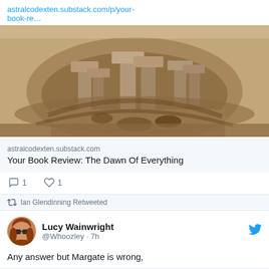astralcodexten.substack.com/p/your-book-re…
[Figure (photo): Aerial view of an ancient archaeological excavation site showing stone pillars and walls in sandy terrain, likely Göbekli Tepe]
astralcodexten.substack.com
Your Book Review: The Dawn Of Everything
1 comment, 1 like
Ian Glendinning Retweeted
Lucy Wainwright @Whoozley · 7h
Any answer but Margate is wrong,